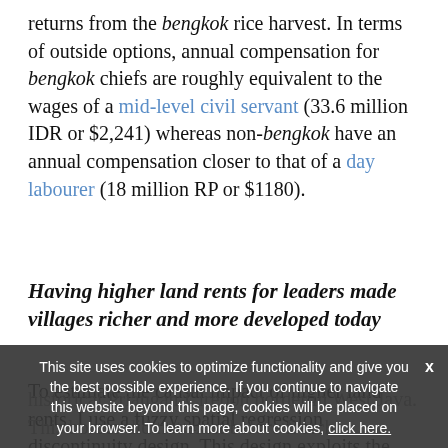returns from the bengkok rice harvest. In terms of outside options, annual compensation for bengkok chiefs are roughly equivalent to the wages of a mid-level civil servant (33.6 million IDR or $2,241) whereas non-bengkok have an annual compensation closer to that of a day labourer (18 million RP or $1180).
Having higher land rents for leaders made villages richer and more developed today
To estimate the causal impact of higher land rents, I use a fuzzy spatial regression discontinuity design. This design exploits the discontinuous jump in tanah bengkok across the historical Priangan-Cirebon border in West Java. This border did not exist before Dutch intervention. bengkok arose from 1850 Dutch efforts to co-opt village chiefs based on perceptions of ...
This site uses cookies to optimize functionality and give you the best possible experience. If you continue to navigate this website beyond this page, cookies will be placed on your browser. To learn more about cookies, click here.